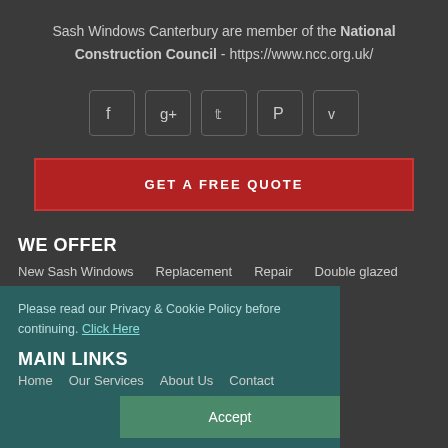Sash Windows Canterbury are member of the National Construction Council - https://www.ncc.org.uk/
[Figure (other): Social media icons: Facebook, Google+, Twitter, Pinterest, Vimeo]
GET A FREE QUOTE
WE OFFER
New Sash Windows   Replacement   Repair   Double glazed
Bespoke   Restoration
Please read our Privacy & Cookie Policy before continuing. Click Here
MAIN LINKS
Home   Our Services   About Us   Contact
Accept